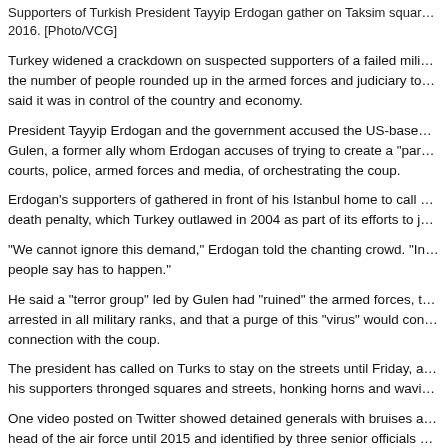Supporters of Turkish President Tayyip Erdogan gather on Taksim square in 2016. [Photo/VCG]
Turkey widened a crackdown on suspected supporters of a failed military coup, pushing the number of people rounded up in the armed forces and judiciary to more than 6,000 as the government said it was in control of the country and economy.
President Tayyip Erdogan and the government accused the US-based Muslim cleric Fethullah Gulen, a former ally whom Erdogan accuses of trying to create a "parallel state" within the courts, police, armed forces and media, of orchestrating the coup.
Erdogan's supporters of gathered in front of his Istanbul home to call for reinstatement of the death penalty, which Turkey outlawed in 2004 as part of its efforts to join the European Union.
"We cannot ignore this demand," Erdogan told the chanting crowd. "In democracies, what the people say has to happen."
He said a "terror group" led by Gulen had "ruined" the armed forces, that 8,000 people had been arrested in all military ranks, and that a purge of this "virus" would continue among all those with connection with the coup.
The president has called on Turks to stay on the streets until Friday, a call heeded eagerly as his supporters thronged squares and streets, honking horns and waving flags.
One video posted on Twitter showed detained generals with bruises and injuries. The former head of the air force until 2015 and identified by three senior officials as one of the alleged masterminds of the coup plot, was among those held.
The Foreign Ministry raised the death toll to more than 290, including